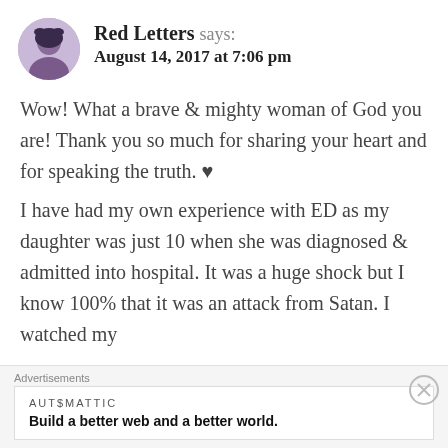Red Letters says: August 14, 2017 at 7:06 pm
Wow! What a brave & mighty woman of God you are! Thank you so much for sharing your heart and for speaking the truth. ♥
I have had my own experience with ED as my daughter was just 10 when she was diagnosed & admitted into hospital. It was a huge shock but I know 100% that it was an attack from Satan. I watched my beautiful daughter change before my
Advertisements
AUTOMATTIC
Build a better web and a better world.